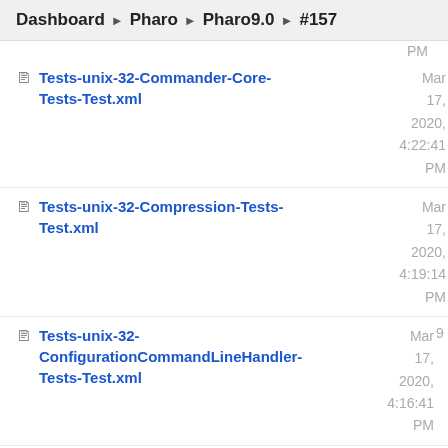Dashboard ▶ Pharo ▶ Pharo9.0 ▶ #157
PM
Tests-unix-32-Commander-Core-Tests-Test.xml  Mar 17, 2020, 4:22:41 PM
Tests-unix-32-Compression-Tests-Test.xml  Mar 17, 2020, 4:19:14 PM
Tests-unix-32-ConfigurationCommandLineHandler-Tests-Test.xml  Mar 17, 2020, 4:16:41 PM
Tests-unix-32-Debugger-Tests-Test.xml  Mar 17, 2020, 2020,